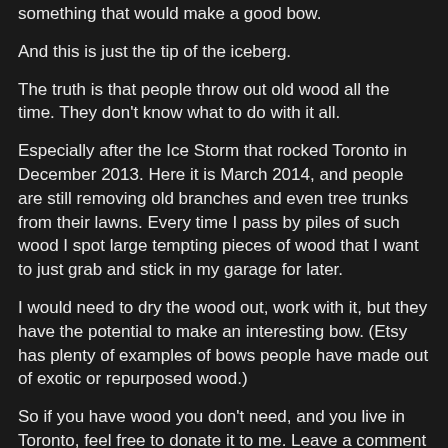something that would make a good bow.
And this is just the tip of the iceberg.
The truth is that people throw out old wood all the time. They don't know what to do with it all.
Especially after the Ice Storm that rocked Toronto in December 2013. Here it is March 2014, and people are still removing old branches and even tree trunks from their lawns. Every time I pass by piles of such wood I spot large tempting pieces of wood that I want to just grab and stick in my garage for later.
I would need to dry the wood out, work with it, but they have the potential to make an interesting bow. (Etsy has plenty of examples of bows people have made out of exotic or repurposed wood.)
So if you have wood you don't need, and you live in Toronto, feel free to donate it to me. Leave a comment with your contact info below and I will get back to you.